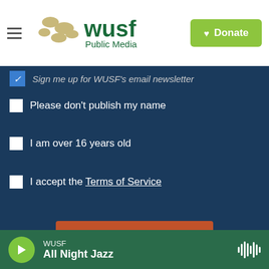WUSF Public Media | Donate
Sign me up for WUSF's email newsletter
Please don't publish my name
I am over 16 years old
I accept the Terms of Service
Submit Question
This project is part of America Amplified.
Powered by Hearken | Terms of Service | Privacy Policy
[Figure (photo): Aerial/satellite view of coastal terrain with clouds]
WUSF
All Night Jazz